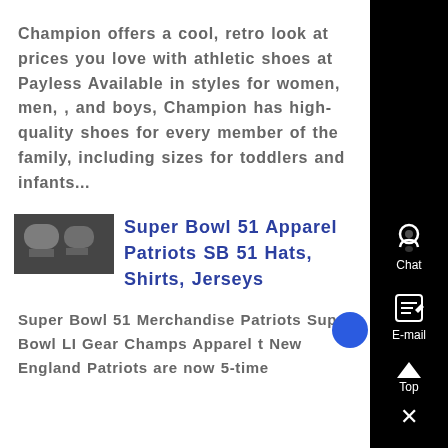Champion offers a cool, retro look at prices you love with athletic shoes at Payless Available in styles for women, men, , and boys, Champion has high-quality shoes for every member of the family, including sizes for toddlers and infants...
[Figure (photo): Small thumbnail image, appears to show dishes or bowls in black and white]
Super Bowl 51 Apparel Patriots SB 51 Hats, Shirts, Jerseys
Super Bowl 51 Merchandise Patriots Super Bowl LI Gear Champs Apparel t New England Patriots are now 5-time